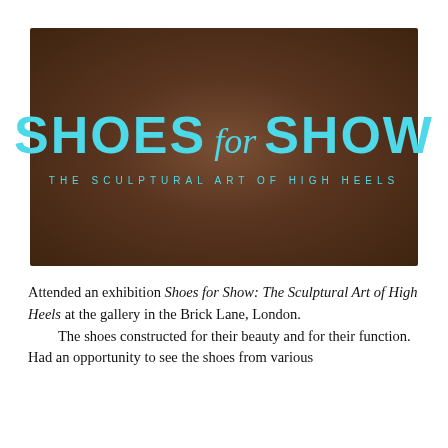[Figure (photo): Exhibition sign on a dark brown background reading 'SHOES for SHOW' in large cyan/turquoise bold uppercase letters with italic 'for', and subtitle 'THE SCULPTURAL ART OF HIGH HEELS' in spaced cyan uppercase letters below.]
Attended an exhibition Shoes for Show: The Sculptural Art of High Heels at the gallery in the Brick Lane, London. The shoes constructed for their beauty and for their function. Had an opportunity to see the shoes from various